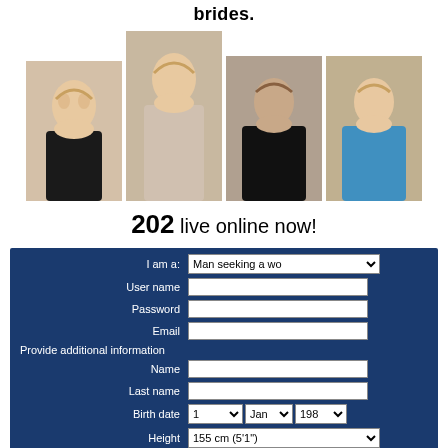brides.
[Figure (photo): Four photos of women arranged in a row, second photo taller than the others]
202 live online now!
| I am a: | Man seeking a wo ▾ |
| User name |  |
| Password |  |
| Email |  |
| Provide additional information |  |
| Name |  |
| Last name |  |
| Birth date | 1 ▾  Jan ▾  198 ▾ |
| Height | 155 cm (5'1") ▾ |
| Weight | 45 kg (100 lbs) ▾ |
| Country | United States ▾ |
| City |  |